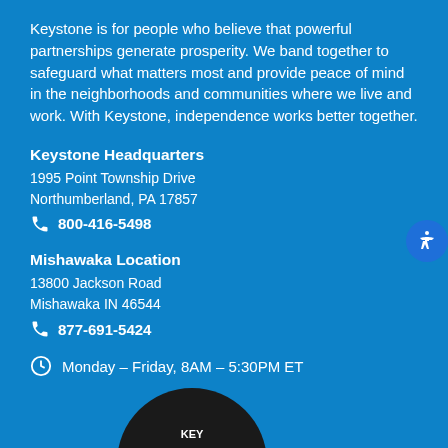Keystone is for people who believe that powerful partnerships generate prosperity. We band together to safeguard what matters most and provide peace of mind in the neighborhoods and communities where we live and work. With Keystone, independence works better together.
Keystone Headquarters
1995 Point Township Drive
Northumberland, PA 17857
📞 800-416-5498
Mishawaka Location
13800 Jackson Road
Mishawaka IN 46544
📞 877-691-5424
Monday – Friday, 8AM – 5:30PM ET
[Figure (logo): Keystone company logo - circular logo partially visible at bottom of page]